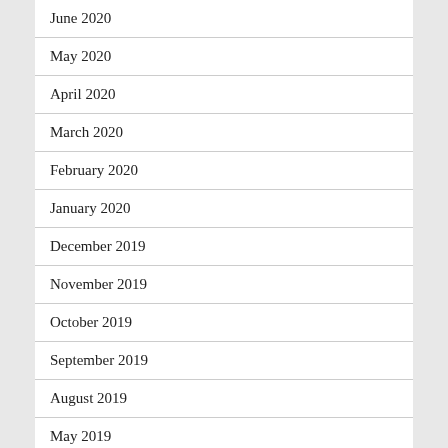June 2020
May 2020
April 2020
March 2020
February 2020
January 2020
December 2019
November 2019
October 2019
September 2019
August 2019
May 2019
April 2019
March 2019